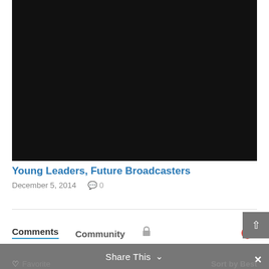[Figure (photo): Black video thumbnail/embed area]
Young Leaders, Future Broadcasters
December 5, 2014   💬 0
Comments   Community   🔒   1   Lo...
Share This ∨
♡ Favorite
Sort by Best